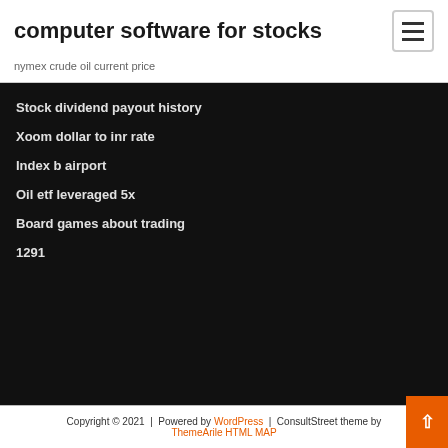computer software for stocks
nymex crude oil current price
Stock dividend payout history
Xoom dollar to inr rate
Index b airport
Oil etf leveraged 5x
Board games about trading
1291
Copyright © 2021 | Powered by WordPress | ConsultStreet theme by ThemeArile HTML MAP